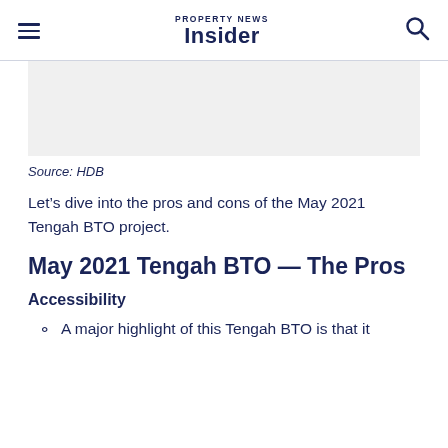PROPERTY NEWS Insider
Source: HDB
Let’s dive into the pros and cons of the May 2021 Tengah BTO project.
May 2021 Tengah BTO — The Pros
Accessibility
A major highlight of this Tengah BTO is that it